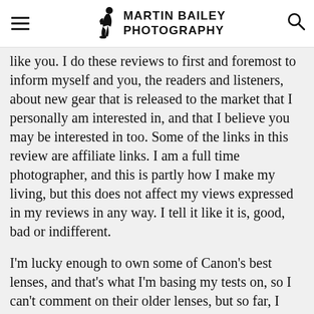Martin Bailey Photography
like you. I do these reviews to first and foremost to inform myself and you, the readers and listeners, about new gear that is released to the market that I personally am interested in, and that I believe you may be interested in too. Some of the links in this review are affiliate links. I am a full time photographer, and this is partly how I make my living, but this does not affect my views expressed in my reviews in any way. I tell it like it is, good, bad or indifferent.
I'm lucky enough to own some of Canon's best lenses, and that's what I'm basing my tests on, so I can't comment on their older lenses, but so far, I have shot with the EF 11-24mm f/4L, EF 24-70 f/2.8L II, EF 70-200mm f/2.8L II, EF 100-400mm f/4.5-